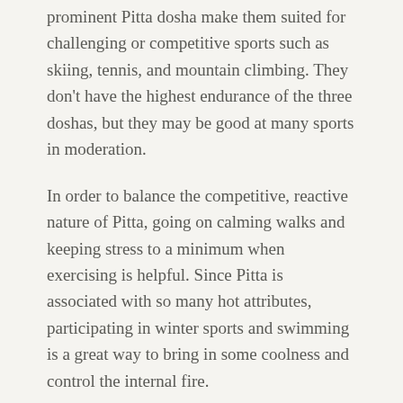prominent Pitta dosha make them suited for challenging or competitive sports such as skiing, tennis, and mountain climbing. They don't have the highest endurance of the three doshas, but they may be good at many sports in moderation.
In order to balance the competitive, reactive nature of Pitta, going on calming walks and keeping stress to a minimum when exercising is helpful. Since Pitta is associated with so many hot attributes, participating in winter sports and swimming is a great way to bring in some coolness and control the internal fire.
Exercising for Kapha Dosha
Steady, sturdy, and strong, people with dominant